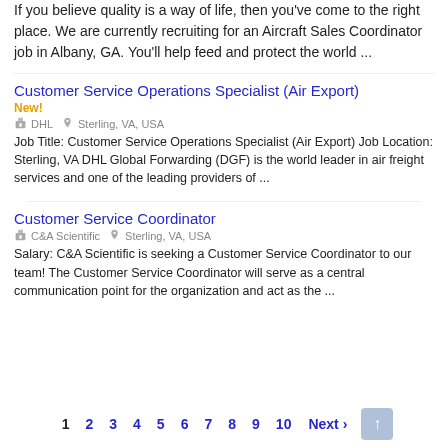If you believe quality is a way of life, then you've come to the right place. We are currently recruiting for an Aircraft Sales Coordinator job in Albany, GA. You'll help feed and protect the world ...
Customer Service Operations Specialist (Air Export)
New!
DHL   Sterling, VA, USA
Job Title: Customer Service Operations Specialist (Air Export) Job Location: Sterling, VA DHL Global Forwarding (DGF) is the world leader in air freight services and one of the leading providers of ...
Customer Service Coordinator
C&A Scientific   Sterling, VA, USA
Salary: C&A Scientific is seeking a Customer Service Coordinator to our team! The Customer Service Coordinator will serve as a central communication point for the organization and act as the ...
1 2 3 4 5 6 7 8 9 10 Next ›